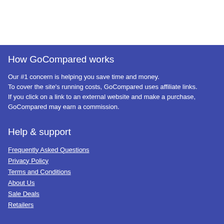How GoCompared works
Our #1 concern is helping you save time and money.
To cover the site's running costs, GoCompared uses affiliate links.
If you click on a link to an external website and make a purchase,
GoCompared may earn a commission.
Help & support
Frequently Asked Questions
Privacy Policy
Terms and Conditions
About Us
Sale Deals
Retailers